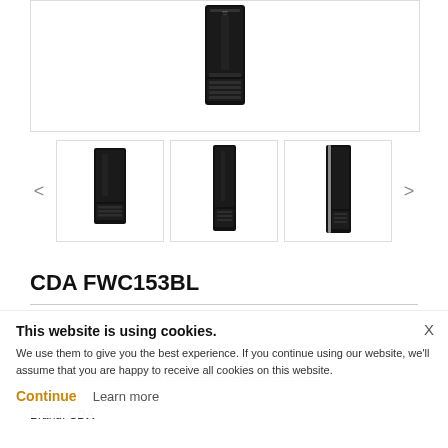[Figure (photo): Main product photo of CDA FWC153BL wine cooler, front view, black finish]
[Figure (photo): Thumbnail 1: CDA FWC153BL wine cooler, angled view]
[Figure (photo): Thumbnail 2: CDA FWC153BL wine cooler, front view]
[Figure (photo): Thumbnail 3: CDA FWC153BL wine cooler, side view]
CDA FWC153BL
Be the first to
CDA FWC153BL Built Under Wine Cooler - Black - G Rated
Brand: CDA
This website is using cookies. We use them to give you the best experience. If you continue using our website, we'll assume that you are happy to receive all cookies on this website.
Continue
Learn more